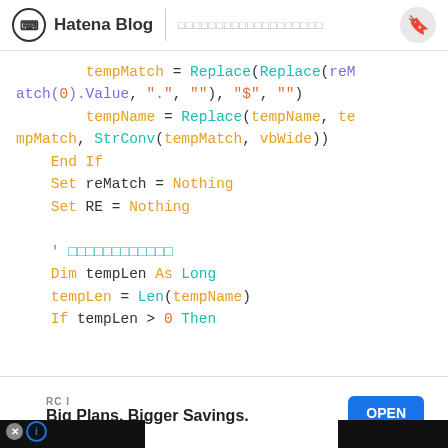Hatena Blog | (Japanese navigation text)
Code snippet in VBA: tempMatch = Replace(Replace(reMatch(0).Value, ".", ""), "$", "")  tempName = Replace(tempName, tempMatch, StrConv(tempMatch, vbWide))  End If  Set reMatch = Nothing  Set RE = Nothing  ' (Japanese comment)  Dim tempLen As Long  tempLen = Len(tempName)  If tempLen > 0 Then
[Figure (screenshot): Ad banner: RCI - Big Plans. Bigger Savings. with OPEN button]